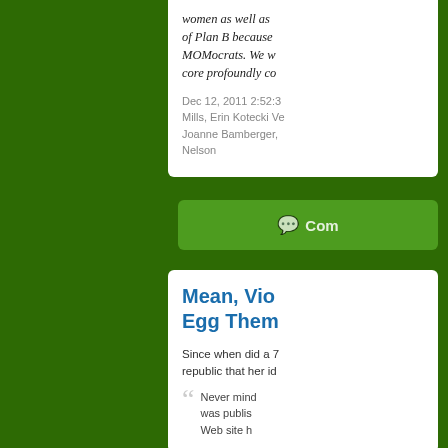women as well as of Plan B because MOMocrats. We w core profoundly co...
Dec 12, 2011 2:52:3 Mills, Erin Kotecki Ve Joanne Bamberger, Nelson
Com...
Mean, Vio Egg Them...
Since when did a 7 republic that her id
Never mind was published Web site h...